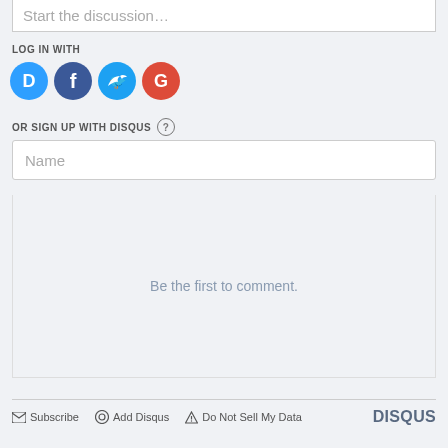Start the discussion…
LOG IN WITH
[Figure (other): Social login icons: Disqus (blue), Facebook (dark blue), Twitter (light blue), Google (red)]
OR SIGN UP WITH DISQUS ?
Name
Be the first to comment.
Subscribe   Add Disqus   Do Not Sell My Data   DISQUS